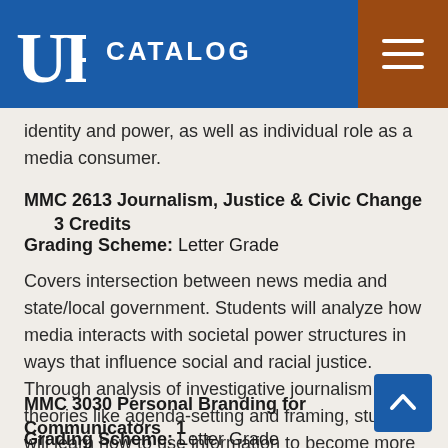UF CATALOG
identity and power, as well as individual role as a media consumer.
MMC 2613 Journalism, Justice & Civic Change   3 Credits
Grading Scheme: Letter Grade
Covers intersection between news media and state/local government. Students will analyze how media interacts with societal power structures in ways that influence social and racial justice. Through analysis of investigative journalism and theories like agenda-setting and framing, students will learn how to use information to become more effective civic participants.
MMC 3030 Personal Branding for Communicators  1
Grading Scheme: Letter Grade